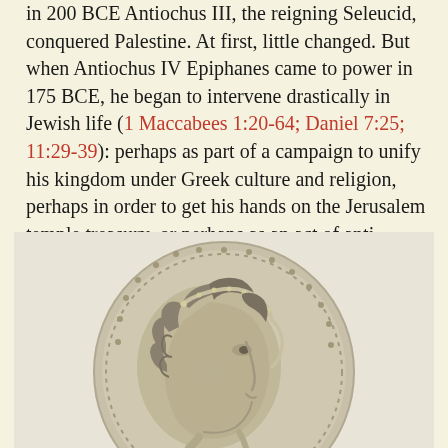in 200 BCE Antiochus III, the reigning Seleucid, conquered Palestine. At first, little changed. But when Antiochus IV Epiphanes came to power in 175 BCE, he began to intervene drastically in Jewish life (1 Maccabees 1:20-64; Daniel 7:25; 11:29-39): perhaps as part of a campaign to unify his kingdom under Greek culture and religion, perhaps in order to get his hands on the Jerusalem temple treasury–or perhaps as an act of anti-Semitic hatred.
[Figure (photo): A silver ancient coin showing the profile portrait of a Hellenistic king in relief, facing right, with curly hair and a diadem. The coin has a circular border with decorative dots and appears to be a tetradrachm or similar denomination.]